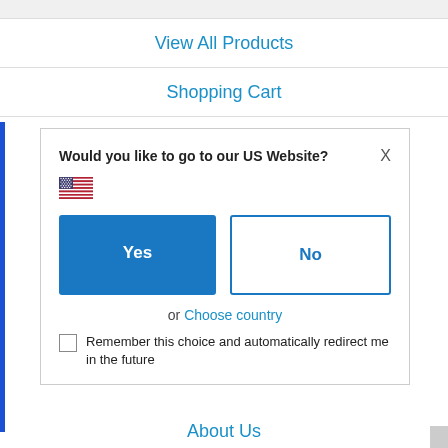View All Products
Shopping Cart
My Account
Would you like to go to our US Website?
[Figure (illustration): US flag emoji/icon]
Yes
No
or Choose country
Remember this choice and automatically redirect me in the future
About Us